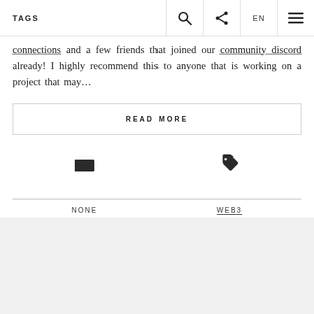TAGS
connections and a few friends that joined our community discord already! I highly recommend this to anyone that is working on a project that may…
READ MORE
NONE
WEB3